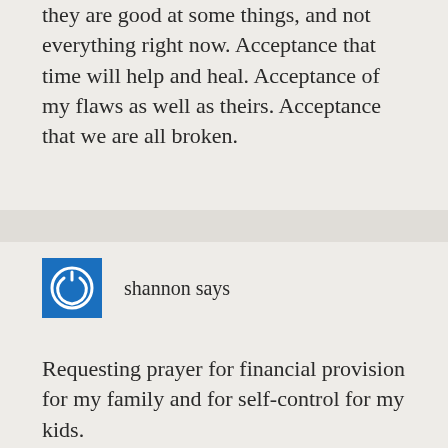they are good at some things, and not everything right now. Acceptance that time will help and heal. Acceptance of my flaws as well as theirs. Acceptance that we are all broken.
shannon says
Requesting prayer for financial provision for my family and for self-control for my kids.